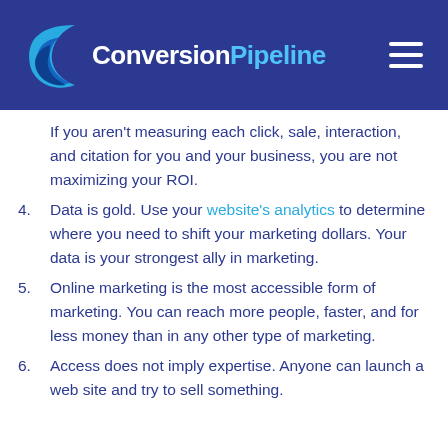[Figure (logo): ConversionPipeline logo with blue crescent wave icon and text 'Conversion' in white bold and 'Pipeline' in light blue, on dark blue header background with hamburger menu icon on right]
If you aren't measuring each click, sale, interaction, and citation for you and your business, you are not maximizing your ROI.
4. Data is gold. Use your website's analytics to determine where you need to shift your marketing dollars. Your data is your strongest ally in marketing.
5. Online marketing is the most accessible form of marketing. You can reach more people, faster, and for less money than in any other type of marketing.
6. Access does not imply expertise. Anyone can launch a web site and try to sell something.